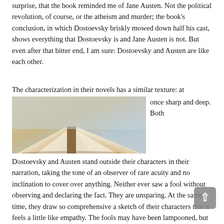surprise, that the book reminded me of Jane Austen. Not the political revolution, of course, or the atheism and murder; the book's conclusion, in which Dostoevsky briskly mowed down half his cast, shows everything that Dostoevsky is and Jane Austen is not. But even after that bitter end, I am sure: Dostoevsky and Austen are like each other.
The characterization in their novels has a similar texture: at once sharp and deep. Both Dostoevsky and Austen stand outside their characters in their narration, taking the tone of an observer of rare acuity and no inclination to cover over anything. Neither ever saw a fool without observing and declaring the fact. They are unsparing. At the same time, they draw so comprehensive a sketch of their characters that it feels a little like empathy. The fools may have been lampooned, but they were at least understood.
[Figure (photo): An open book photographed from above, showing fanned pages against a light gray background.]